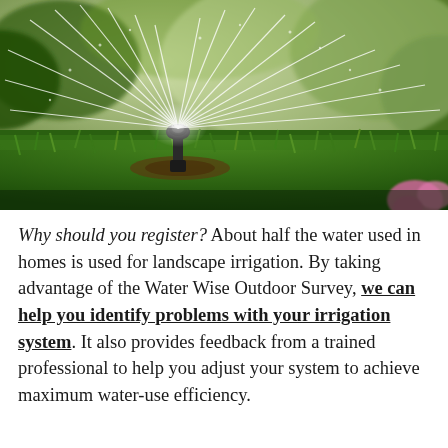[Figure (photo): Close-up photograph of a lawn sprinkler head spraying water in multiple directions over green grass, with bokeh background of foliage and a pink flower visible at bottom right.]
Why should you register? About half the water used in homes is used for landscape irrigation. By taking advantage of the Water Wise Outdoor Survey, we can help you identify problems with your irrigation system. It also provides feedback from a trained professional to help you adjust your system to achieve maximum water-use efficiency.